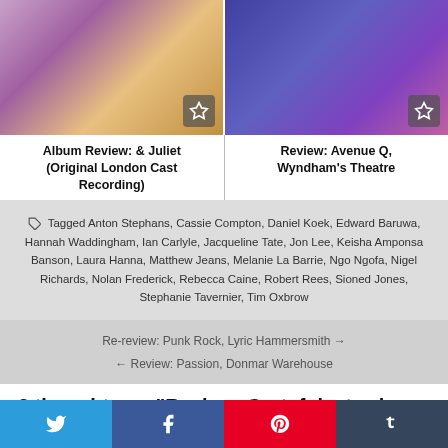[Figure (photo): Two theatrical show images side by side at the top of the page]
Album Review: & Juliet (Original London Cast Recording)
Review: Avenue Q, Wyndham's Theatre
Tagged Anton Stephans, Cassie Compton, Daniel Koek, Edward Baruwa, Hannah Waddingham, Ian Carlyle, Jacqueline Tate, Jon Lee, Keisha Amponsa Banson, Laura Hanna, Matthew Jeans, Melanie La Barrie, Ngo Ngofa, Nigel Richards, Nolan Frederick, Rebecca Caine, Robert Rees, Sioned Jones, Stephanie Tavernier, Tim Oxbrow
Re-review: Punk Rock, Lyric Hammersmith →
← Review: Passion, Donmar Warehouse
2 thoughts on "Review: Grateful, starring